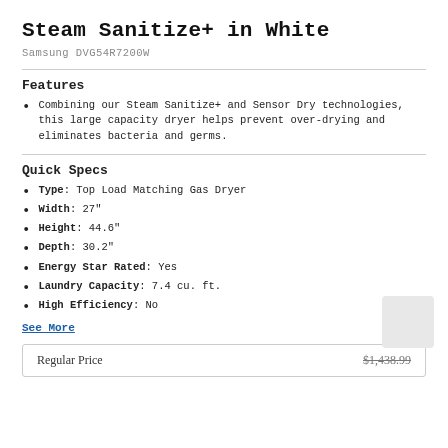Steam Sanitize+ in White
Samsung DVG54R7200W
Features
Combining our Steam Sanitize+ and Sensor Dry technologies, this large capacity dryer helps prevent over-drying and eliminates bacteria and germs.
Quick Specs
Type: Top Load Matching Gas Dryer
Width: 27"
Height: 44.6"
Depth: 30.2"
Energy Star Rated: Yes
Laundry Capacity: 7.4 cu. ft.
High Efficiency: No
See More
| Regular Price |  |
| --- | --- |
| Regular Price | $1,438.99 |